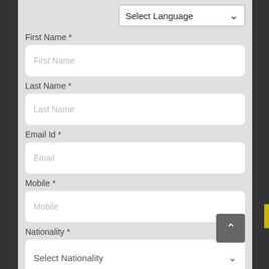Select Language
First Name *
First Name
Last Name *
Last Name
Email Id *
Email
Mobile *
Mobile
Nationality *
Select Nationality
Country of Residence*